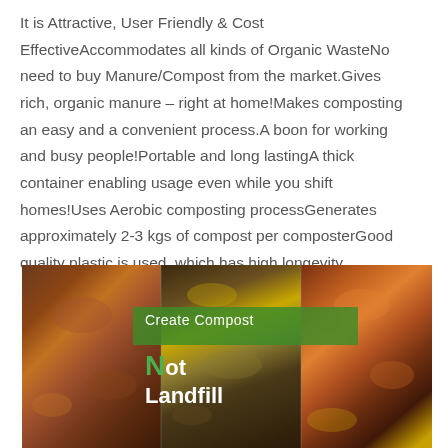It is Attractive, User Friendly & Cost EffectiveAccommodates all kinds of Organic WasteNo need to buy Manure/Compost from the market.Gives rich, organic manure – right at home!Makes composting an easy and a convenient process.A boon for working and busy people!Portable and long lastingA thick container enabling usage even while you shift homes!Uses Aerobic composting processGenerates approximately 2-3 kgs of compost per composterGood quality plastic is used, which has high longevity
[Figure (photo): Composite photo of organic food waste (vegetable and fruit scraps) with a green banner overlay reading 'Create Compost Not Landfill' in white and green text]